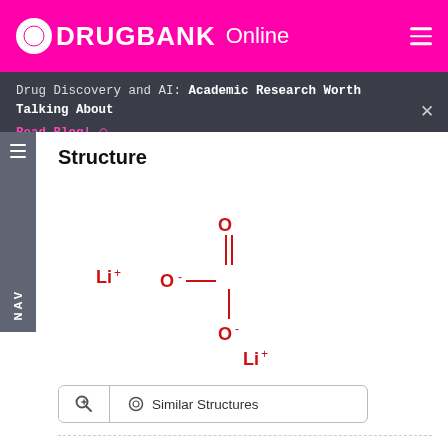DRUGBANK Online
Drug Discovery and AI: Academic Research Worth Talking About Read Blog!
Structure
[Figure (other): Chemical structure of lithium carbonate showing Li+ ions and carbonate group (CO3 2-) with double bond oxygen at top, two single-bond oxygens on sides and bottom, with negative charges and Li+ cations]
Similar Structures
Weight
Average: 73.89
Monoisotopic: 74.01675074